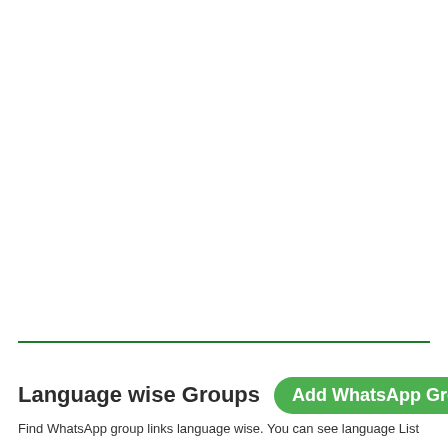Language wise Groups
Add WhatsApp Group
Find WhatsApp group links language wise. You can see language List